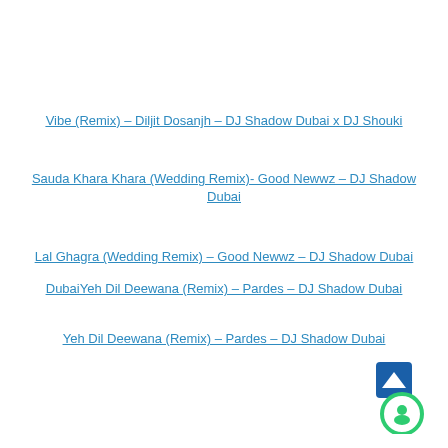Vibe (Remix) – Diljit Dosanjh – DJ Shadow Dubai x DJ Shouki
Sauda Khara Khara (Wedding Remix)- Good Newwz – DJ Shadow Dubai
Lal Ghagra (Wedding Remix) – Good Newwz – DJ Shadow Dubai
Yeh Dil Deewana (Remix) – Pardes – DJ Shadow Dubai
Yeh Dil Deewana (Remix) – Pardes – DJ Shadow Dubai